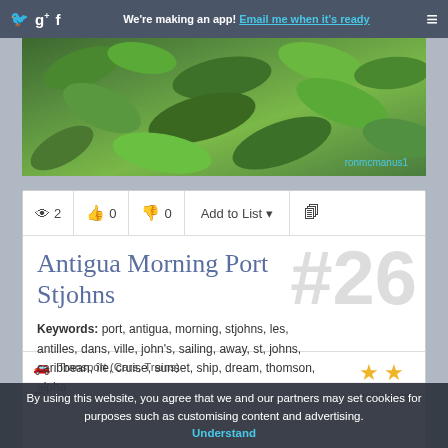We're making an app! Email me when it's ready
[Figure (photo): Tropical green foliage photograph with photo credit 'ronmcmanus1']
2  0  0  Add to List
Antigua Morning Port Stjohns
#26
Keywords: port, antigua, morning, stjohns, les, antilles, dans, ville, john's, sailing, away, st, johns, caribbean, île, cruise, sunset, ship, dream, thomson, alpha
Not Curated
Transport (Cars, Trains)
Antigua morning
Matti Mattila
By using this website, you agree that we and our partners may set cookies for purposes such as customising content and advertising. Understand